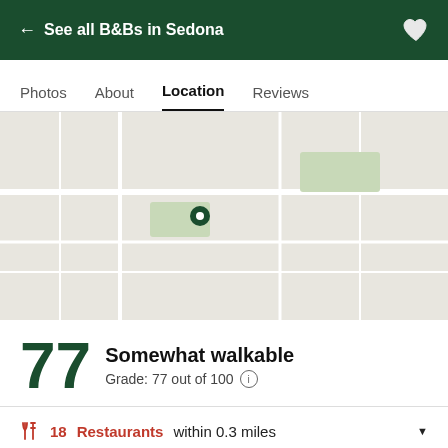← See all B&Bs in Sedona
Photos   About   Location   Reviews
[Figure (map): Map area showing location of B&B in Sedona, displayed as a light-colored map placeholder]
77 Somewhat walkable
Grade: 77 out of 100
18 Restaurants within 0.3 miles
21 Attractions within 0.3 miles